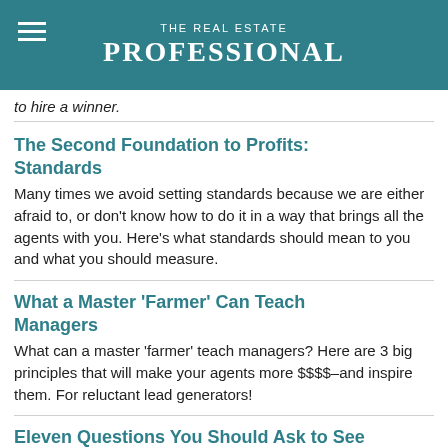THE REAL ESTATE PROFESSIONAL
to hire a winner.
The Second Foundation to Profits: Standards
Many times we avoid setting standards because we are either afraid to, or don't know how to do it in a way that brings all the agents with you. Here's what standards should mean to you and what you should measure.
What a Master 'Farmer' Can Teach Managers
What can a master 'farmer' teach managers? Here are 3 big principles that will make your agents more $$$$–and inspire them. For reluctant lead generators!
Eleven Questions You Should Ask to See if Your Training Worked